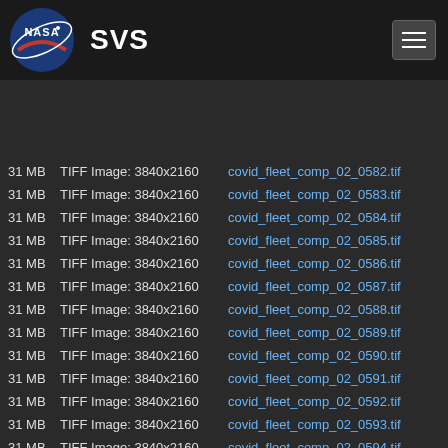NASA SVS
| Size | Type | Filename |
| --- | --- | --- |
| 31 MB | TIFF Image: 3840x2160 | covid_fleet_comp_02_0582.tif |
| 31 MB | TIFF Image: 3840x2160 | covid_fleet_comp_02_0583.tif |
| 31 MB | TIFF Image: 3840x2160 | covid_fleet_comp_02_0584.tif |
| 31 MB | TIFF Image: 3840x2160 | covid_fleet_comp_02_0585.tif |
| 31 MB | TIFF Image: 3840x2160 | covid_fleet_comp_02_0586.tif |
| 31 MB | TIFF Image: 3840x2160 | covid_fleet_comp_02_0587.tif |
| 31 MB | TIFF Image: 3840x2160 | covid_fleet_comp_02_0588.tif |
| 31 MB | TIFF Image: 3840x2160 | covid_fleet_comp_02_0589.tif |
| 31 MB | TIFF Image: 3840x2160 | covid_fleet_comp_02_0590.tif |
| 31 MB | TIFF Image: 3840x2160 | covid_fleet_comp_02_0591.tif |
| 31 MB | TIFF Image: 3840x2160 | covid_fleet_comp_02_0592.tif |
| 31 MB | TIFF Image: 3840x2160 | covid_fleet_comp_02_0593.tif |
| 31 MB | TIFF Image: 3840x2160 | covid_fleet_comp_02_0594.tif |
| 31 MB | TIFF Image: 3840x2160 | covid_fleet_comp_02_0595.tif |
| 31 MB | TIFF Image: 3840x2160 | covid_fleet_comp_02_0596.tif |
| 31 MB | TIFF Image: 3840x2160 | covid_fleet_comp_02_0597.tif |
| 31 MB | TIFF Image: 3840x2160 | covid_fleet_comp_02_0598.tif |
| 31 MB | TIFF Image: 3840x2160 | covid_fleet_comp_02_0599.tif |
| 31 MB | TIFF Image: 3840x2160 | covid_fleet_comp_02_0600.tif |